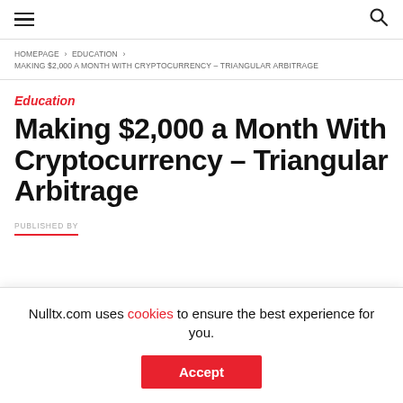≡  🔍
HOMEPAGE › EDUCATION › MAKING $2,000 A MONTH WITH CRYPTOCURRENCY – TRIANGULAR ARBITRAGE
Education
Making $2,000 a Month With Cryptocurrency – Triangular Arbitrage
PUBLISHED BY
Nulltx.com uses cookies to ensure the best experience for you.